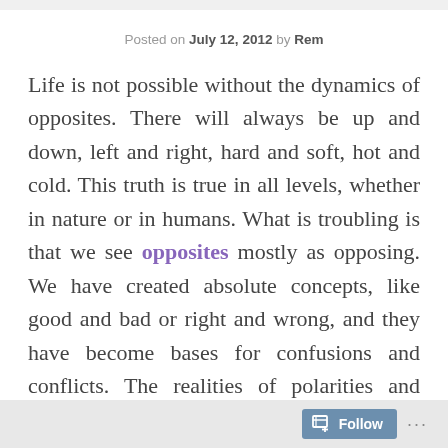Posted on July 12, 2012 by Rem
Life is not possible without the dynamics of opposites. There will always be up and down, left and right, hard and soft, hot and cold. This truth is true in all levels, whether in nature or in humans. What is troubling is that we see opposites mostly as opposing. We have created absolute concepts, like good and bad or right and wrong, and they have become bases for confusions and conflicts. The realities of polarities and dichotomies are the usual principles of why we compete against others or create rules and moral boundaries. Or why we tell stories of heroes against villains or angels against
Follow ...